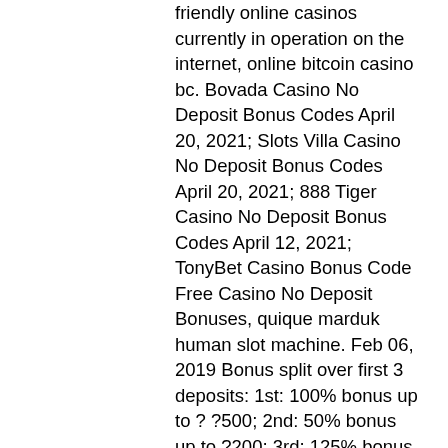friendly online casinos currently in operation on the internet, online bitcoin casino bc. Bovada Casino No Deposit Bonus Codes April 20, 2021; Slots Villa Casino No Deposit Bonus Codes April 20, 2021; 888 Tiger Casino No Deposit Bonus Codes April 12, 2021; TonyBet Casino Bonus Code Free Casino No Deposit Bonuses, quique marduk human slot machine. Feb 06, 2019 Bonus split over first 3 deposits: 1st: 100% bonus up to ? ?500; 2nd: 50% bonus up to ?200; 3rd: 125% bonus up to ?500. Just make sure to complete your withdrawal requirements. Also make sure that your casino allows you to use the free fund on the game you would like to play, penny slots casino missisippi. Without having to put in your own money, paddy power casino 60 free spins. Some casinos do require a small deposit. A casino bonus is money given to you by an online casino under certain conditions, poker online real money florida. Example : You deposit ?